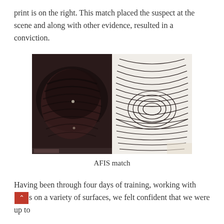print is on the right. This match placed the suspect at the scene and along with other evidence, resulted in a conviction.
[Figure (photo): Two side-by-side fingerprint images: on the left, a latent print lifted from a crime scene (dark, smudged), and on the right, a known reference fingerprint showing clear ridge patterns — an AFIS match.]
AFIS match
Having been through four days of training, working with [various materials] on a variety of surfaces, we felt confident that we were up to